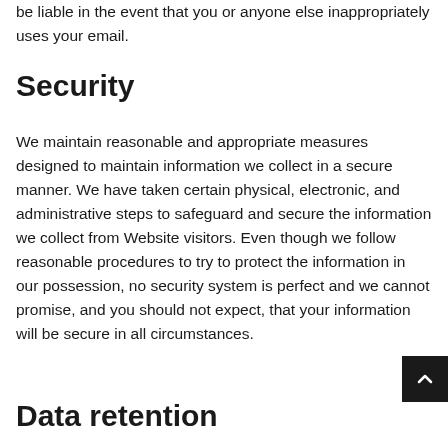be liable in the event that you or anyone else inappropriately uses your email.
Security
We maintain reasonable and appropriate measures designed to maintain information we collect in a secure manner. We have taken certain physical, electronic, and administrative steps to safeguard and secure the information we collect from Website visitors. Even though we follow reasonable procedures to try to protect the information in our possession, no security system is perfect and we cannot promise, and you should not expect, that your information will be secure in all circumstances.
Data retention